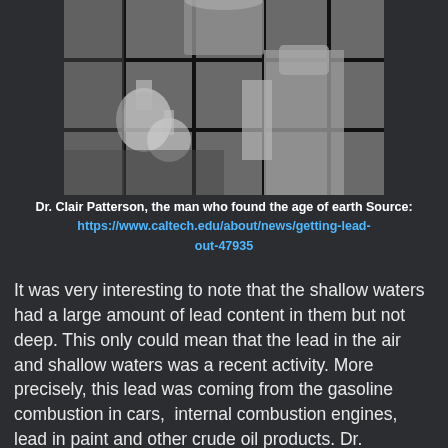[Figure (photo): Black and white photograph of Dr. Clair Patterson in a laboratory setting, with glass laboratory equipment visible, behind a metal grid/cage structure.]
Dr. Clair Patterson, the man who found the age of earth
Source: https://www.caltech.edu/about/news/getting-lead-out-47935
It was very interesting to note that the shallow waters had a large amount of lead content in them but not deep. This only could mean that the lead in the air and shallow waters was a recent activity. More precisely, this lead was coming from the gasoline combustion in cars,  internal combustion engines, lead in paint and other crude oil products. Dr. Partterson got scared of his discovery as it meant fighting with the oil industry